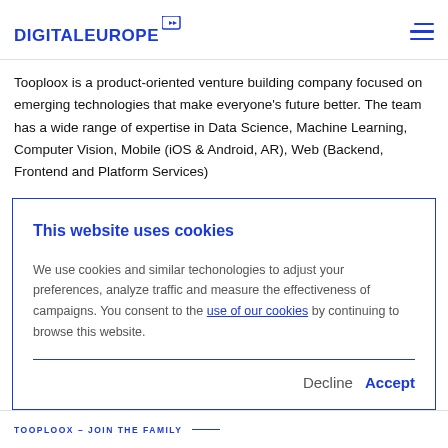DIGITALEUROPE
Tooploox is a product-oriented venture building company focused on emerging technologies that make everyone's future better. The team has a wide range of expertise in Data Science, Machine Learning, Computer Vision, Mobile (iOS & Android, AR), Web (Backend, Frontend and Platform Services)
This website uses cookies
We use cookies and similar techonologies to adjust your preferences, analyze traffic and measure the effectiveness of campaigns. You consent to the use of our cookies by continuing to browse this website.
Decline  Accept
TOOPLOOX – JOIN THE FAMILY